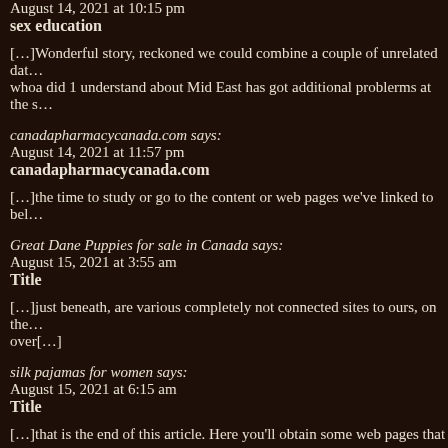August 14, 2021 at 10:15 pm
sex education
[…]Wonderful story, reckoned we could combine a couple of unrelated dat… whoa did 1 understand about Mid East has got additional problerms at the s…
canadapharmacycanada.com says:
August 14, 2021 at 11:57 pm
canadapharmacycanada.com
[…]the time to study or go to the content or web pages we've linked to bel…
Great Dane Puppies for sale in Canada says:
August 15, 2021 at 3:55 am
Title
[…]just beneath, are various completely not connected sites to ours, on the… over[…]
silk pajamas for women says:
August 15, 2021 at 6:15 am
Title
[…]that is the end of this article. Here you'll obtain some web pages that w… over[…]
prostate toys for men says:
August 15, 2021 at 9:05 pm